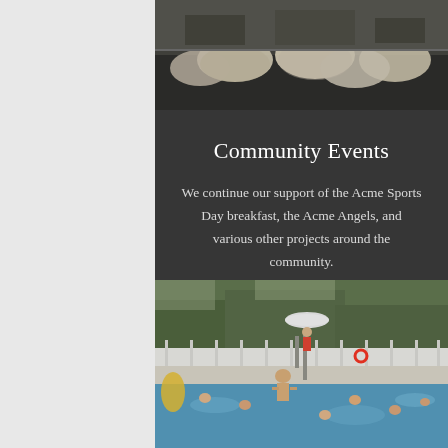[Figure (photo): Top photo showing pancakes or round food items cooking on a griddle, outdoor cooking scene]
Community Events
We continue our support of the Acme Sports Day breakfast, the Acme Angels, and various other projects around the community.
Become a Volunteer
[Figure (photo): Community pool scene with children swimming, a lifeguard on a stand with an umbrella, and a white fence in the background with trees]